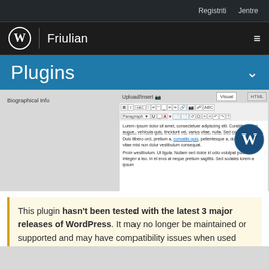Registriti  Jentre
Friulian
Plugins
[Figure (screenshot): WordPress plugin editor screenshot showing a TinyMCE editor with lorem ipsum text and a WordPress logo image inserted. The editor has Visual and HTML tabs, formatting toolbar, and shows lorem ipsum placeholder text with a convallis quis link.]
This plugin hasn't been tested with the latest 3 major releases of WordPress. It may no longer be maintained or supported and may have compatibility issues when used with more recent versions of WordPress.